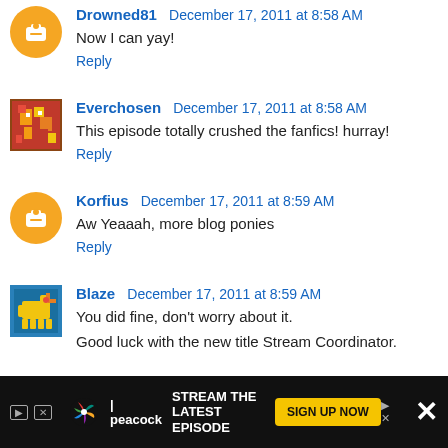[Figure (illustration): Orange circle Blogger default avatar icon for Drowned81]
Drowned81  December 17, 2011 at 8:58 AM
Now I can yay!
Reply
[Figure (illustration): Pixel art avatar for Everchosen showing a character with flames]
Everchosen  December 17, 2011 at 8:58 AM
This episode totally crushed the fanfics! hurray!
Reply
[Figure (illustration): Orange circle Blogger default avatar icon for Korfius]
Korfius  December 17, 2011 at 8:59 AM
Aw Yeaaah, more blog ponies
Reply
[Figure (illustration): Pixel art avatar for Blaze showing a yellow pony on blue background]
Blaze  December 17, 2011 at 8:59 AM
You did fine, don't worry about it.

Good luck with the new title Stream Coordinator.
[Figure (illustration): Peacock advertisement banner: STREAM THE LATEST EPISODE - SIGN UP NOW]